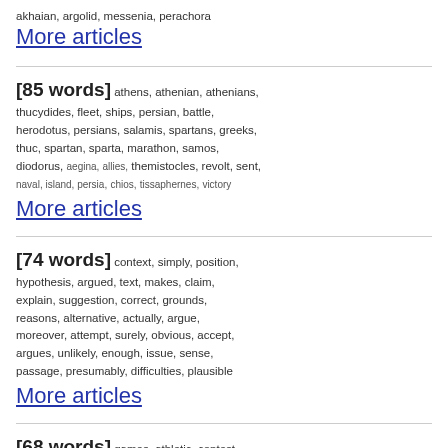akhaian, argolid, messenia, perachora
More articles
[85 words] athens, athenian, athenians, thucydides, fleet, ships, persian, battle, herodotus, persians, salamis, spartans, greeks, thuc, spartan, sparta, marathon, samos, diodorus, aegina, allies, themistocles, revolt, sent, naval, island, persia, chios, tissaphernes, victory
More articles
[74 words] context, simply, position, hypothesis, argued, text, makes, claim, explain, suggestion, correct, grounds, reasons, alternative, actually, argue, moreover, attempt, surely, obvious, accept, argues, unlikely, enough, issue, sense, passage, presumably, difficulties, plausible
More articles
[68 words] games, athletic, contest, olympia, contests, victory, race, festival, festivals, athletes, victor, game, athletics, victors, wrestling, stadium, prize, events, olympic, gardiner,